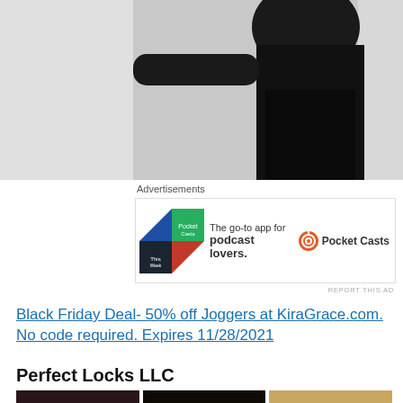[Figure (photo): Woman in black athletic wear / joggers, cropped photo showing torso and legs on light background]
Advertisements
[Figure (infographic): Pocket Casts advertisement banner: colorful diamond logo on left, text 'The go-to app for podcast lovers.' in center, Pocket Casts logo and name on right]
REPORT THIS AD
Black Friday Deal- 50% off Joggers at KiraGrace.com. No code required. Expires 11/28/2021
Perfect Locks LLC
[Figure (photo): Three women with different hair types side by side: dark straight hair, curly black hair (afro), and blonde curly hair]